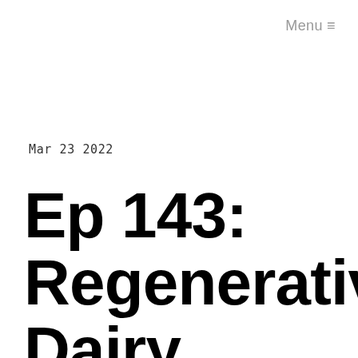Menu ≡
Mar 23 2022
Ep 143: Regenerative Dairy Farming and Icelandic